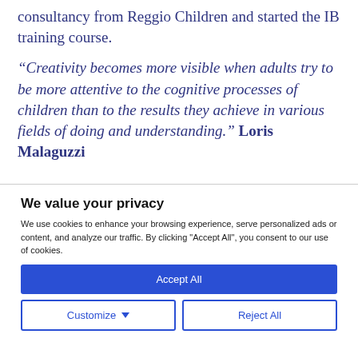consultancy from Reggio Children and started the IB training course.
“Creativity becomes more visible when adults try to be more attentive to the cognitive processes of children than to the results they achieve in various fields of doing and understanding.” Loris Malaguzzi
We value your privacy
We use cookies to enhance your browsing experience, serve personalized ads or content, and analyze our traffic. By clicking "Accept All", you consent to our use of cookies.
Accept All
Customize
Reject All